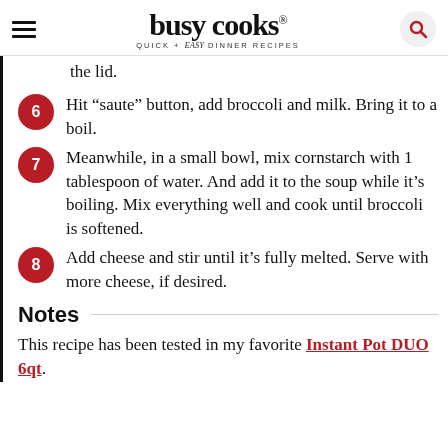busy cooks — QUICK + easy DINNER RECIPES
the lid.
6. Hit “saute” button, add broccoli and milk. Bring it to a boil.
7. Meanwhile, in a small bowl, mix cornstarch with 1 tablespoon of water. And add it to the soup while it’s boiling. Mix everything well and cook until broccoli is softened.
8. Add cheese and stir until it’s fully melted. Serve with more cheese, if desired.
Notes
This recipe has been tested in my favorite Instant Pot DUO 6qt.